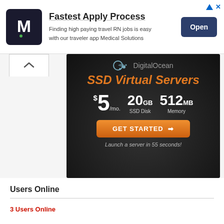[Figure (screenshot): Top banner ad for Medical Solutions showing M logo, 'Fastest Apply Process' headline, tagline about travel RN jobs, and an Open button]
[Figure (screenshot): DigitalOcean ad: SSD Virtual Servers starting at $5/mo, 20GB SSD Disk, 512MB Memory, GET STARTED button, Launch a server in 55 seconds!]
Users Online
3 Users Online